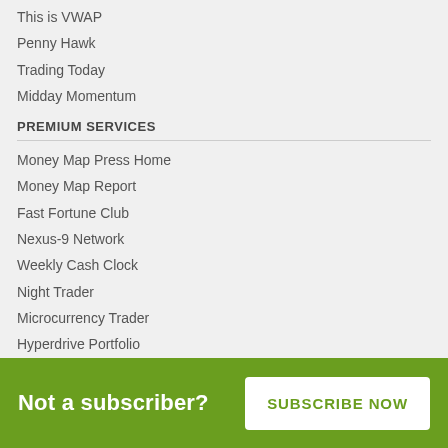This is VWAP
Penny Hawk
Trading Today
Midday Momentum
PREMIUM SERVICES
Money Map Press Home
Money Map Report
Fast Fortune Club
Nexus-9 Network
Weekly Cash Clock
Night Trader
Microcurrency Trader
Hyperdrive Portfolio
Operation Surge Strike
Rocket Wealth Initiative
The Gunslingers Trading Alliance
Extreme Profit Hunters
Profit Revolution
Warlock's World
Penny Nation
Not a subscriber?
SUBSCRIBE NOW